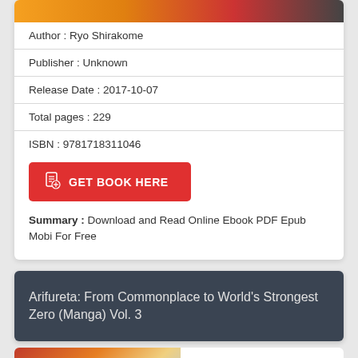[Figure (illustration): Top strip showing partial book cover image]
Author : Ryo Shirakome
Publisher : Unknown
Release Date : 2017-10-07
Total pages : 229
ISBN : 9781718311046
GET BOOK HERE
Summary : Download and Read Online Ebook PDF Epub Mobi For Free
Arifureta: From Commonplace to World's Strongest Zero (Manga) Vol. 3
[Figure (illustration): Bottom partial manga cover image showing two characters]